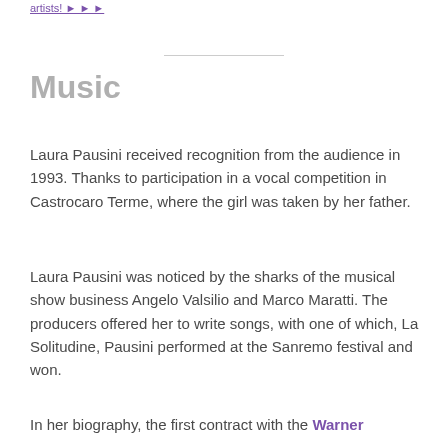artists! ► ► ►
Music
Laura Pausini received recognition from the audience in 1993. Thanks to participation in a vocal competition in Castrocaro Terme, where the girl was taken by her father.
Laura Pausini was noticed by the sharks of the musical show business Angelo Valsilio and Marco Maratti. The producers offered her to write songs, with one of which, La Solitudine, Pausini performed at the Sanremo festival and won.
In her biography, the first contract with the Warner